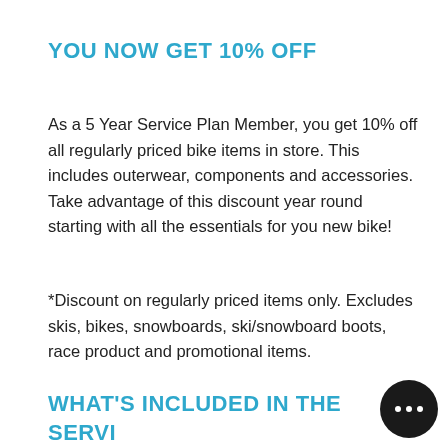YOU NOW GET 10% OFF
As a 5 Year Service Plan Member, you get 10% off all regularly priced bike items in store. This includes outerwear, components and accessories. Take advantage of this discount year round starting with all the essentials for you new bike!
*Discount on regularly priced items only. Excludes skis, bikes, snowboards, ski/snowboard boots, race product and promotional items.
WHAT'S INCLUDED IN THE SERVICE PLAN?